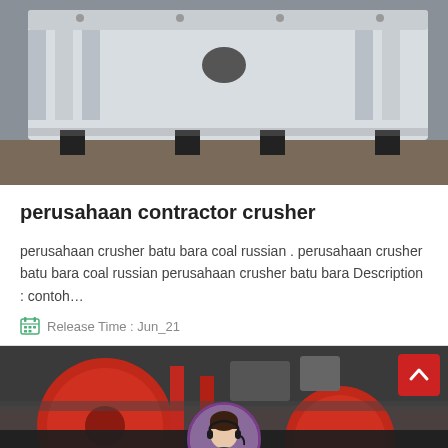[Figure (photo): Industrial crusher machine, large white metal housing with ribbed sides, sitting on black legs in a factory/warehouse setting]
perusahaan contractor crusher
perusahaan crusher batu bara coal russian . perusahaan crusher batu bara coal russian perusahaan crusher batu bara Description : contoh…
Release Time : Jun_21
[Figure (photo): Industrial machinery in a factory, showing large red cylindrical drums/rollers with red and black pipework in the background]
Leave Message
Chat Online